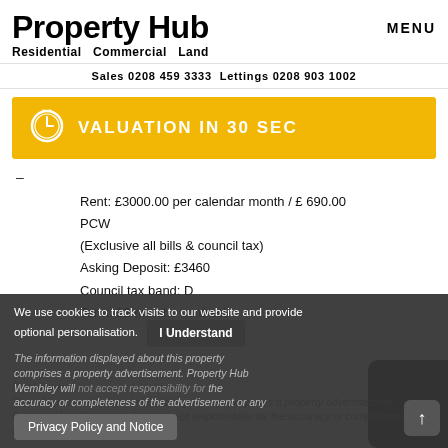Property Hub
Residential   Commercial   Land
MENU
Sales 0208 459 3333 Lettings 0208 903 1002
[Figure (other): Yellow banner with clock icon and text VALUATION IN 30 SEC]
-
Rent: £3000.00 per calendar month / £ 690.00 PCW
(Exclusive all bills & council tax)
Asking Deposit: £3460
Council tax band: D
Term: 12 months contract
We use cookies to track visits to our website and provide optional personalisation.
The information displayed about this property comprises a property advertisement. Property Hub Wembley will not accept responsibility for the accuracy or completeness of the advertisement or any
I Understand
Privacy Policy and Notice